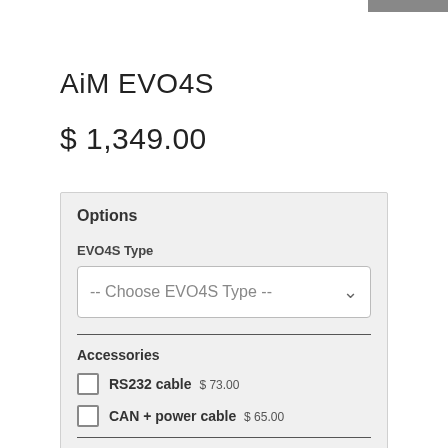AiM EVO4S
$ 1,349.00
Options
EVO4S Type
-- Choose EVO4S Type --
Accessories
RS232 cable $ 73.00
CAN + power cable $ 65.00